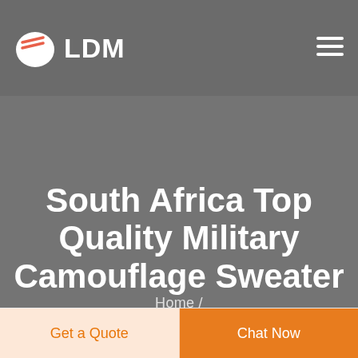LDM
South Africa Top Quality Military Camouflage Sweater
Home /
Get a Quote
Chat Now